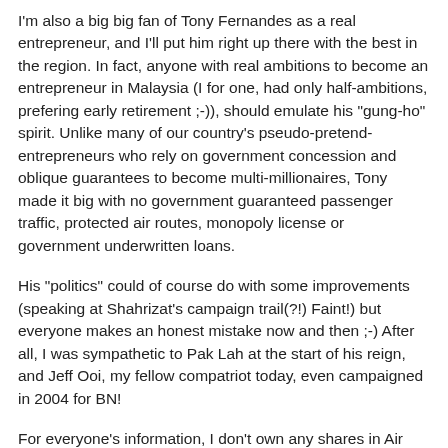I'm also a big big fan of Tony Fernandes as a real entrepreneur, and I'll put him right up there with the best in the region. In fact, anyone with real ambitions to become an entrepreneur in Malaysia (I for one, had only half-ambitions, prefering early retirement ;-)), should emulate his "gung-ho" spirit. Unlike many of our country's pseudo-pretend-entrepreneurs who rely on government concession and oblique guarantees to become multi-millionaires, Tony made it big with no government guaranteed passenger traffic, protected air routes, monopoly license or government underwritten loans.
His "politics" could of course do with some improvements (speaking at Shahrizat's campaign trail(?!) Faint!) but everyone makes an honest mistake now and then ;-) After all, I was sympathetic to Pak Lah at the start of his reign, and Jeff Ooi, my fellow compatriot today, even campaigned in 2004 for BN!
For everyone's information, I don't own any shares in Air Asia although I watch over its performance. I have Tony Fernandes' handphone number, but we're not drinking